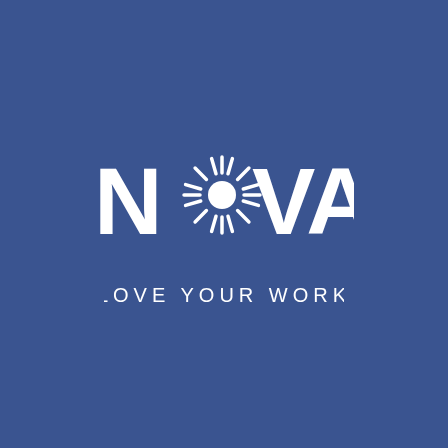[Figure (logo): NOVA logo with sunburst replacing the letter O, white on dark blue background, with tagline LOVE YOUR WORK below]